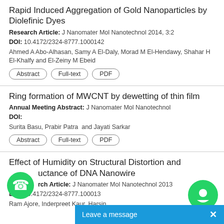Rapid Induced Aggregation of Gold Nanoparticles by Diolefinic Dyes
Research Article: J Nanomater Mol Nanotechnol 2014, 3:2
DOI: 10.4172/2324-8777.1000142
Ahmed A Abo-Alhasan, Samy A El-Daly, Morad M El-Hendawy, Shahar H El-Khalfy and El-Zeiny M Ebeid
Abstract  Full-text  PDF
Ring formation of MWCNT by dewetting of thin film
Annual Meeting Abstract: J Nanomater Mol Nanotechnol
DOI:
Surita Basu, Prabir Patra  and Jayati Sarkar
Abstract  Full-text  PDF
Effect of Humidity on Structural Distortion and Inductance of DNA Nanowire
Research Article: J Nanomater Mol Nanotechnol 2013...
DOI: 10.4172/2324-8777.100013...
Ram Ajore, Inderpreet Kaur, Harsin...